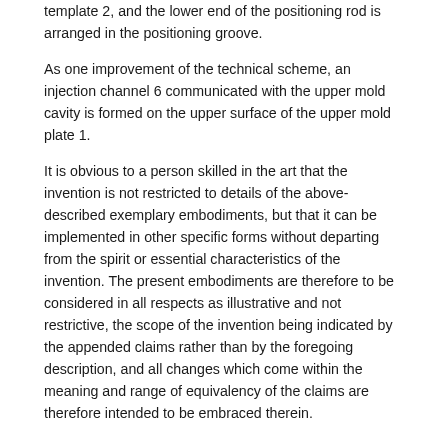template 2, and the lower end of the positioning rod is arranged in the positioning groove.
As one improvement of the technical scheme, an injection channel 6 communicated with the upper mold cavity is formed on the upper surface of the upper mold plate 1.
It is obvious to a person skilled in the art that the invention is not restricted to details of the above-described exemplary embodiments, but that it can be implemented in other specific forms without departing from the spirit or essential characteristics of the invention. The present embodiments are therefore to be considered in all respects as illustrative and not restrictive, the scope of the invention being indicated by the appended claims rather than by the foregoing description, and all changes which come within the meaning and range of equivalency of the claims are therefore intended to be embraced therein.
Similar Documents
| Publication | Publication Date | Title |
| --- | --- | --- |